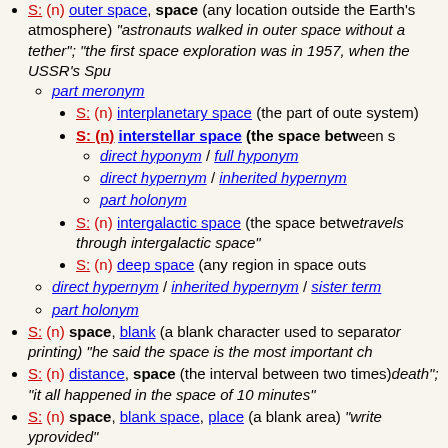S: (n) outer space, space (any location outside the Earth's atmosphere) "astronauts walked in outer space without a tether"; "the first space exploration was in 1957, when the USSR's Spu..."
part meronym
S: (n) interplanetary space (the part of oute... system)
S: (n) interstellar space (the space betw...
direct hyponym / full hyponym
direct hypernym / inherited hypernym
part holonym
S: (n) intergalactic space (the space betwe... travels through intergalactic space"
S: (n) deep space (any region in space outs...
direct hypernym / inherited hypernym / sister term...
part holonym
S: (n) space, blank (a blank character used to separat... or printing) "he said the space is the most important ch..."
S: (n) distance, space (the interval between two times...) death"; "it all happened in the space of 10 minutes"
S: (n) space, blank space, place (a blank area) "write... provided"
S: (n) space (one of the areas between or below or ab... staff) "the spaces are the notes F-A-C-E"
S: (n) quad, space ((printing) a block of type without a... between words or sentences)